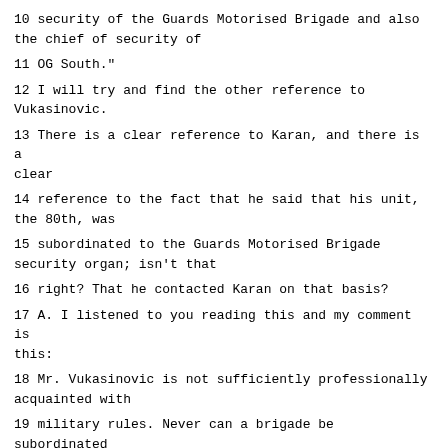10 security of the Guards Motorised Brigade and also the chief of security of
11 OG South."
12 I will try and find the other reference to Vukasinovic.
13 There is a clear reference to Karan, and there is a clear
14 reference to the fact that he said that his unit, the 80th, was
15 subordinated to the Guards Motorised Brigade security organ; isn't that
16 right? That he contacted Karan on that basis?
17 A. I listened to you reading this and my comment is this:
18 Mr. Vukasinovic is not sufficiently professionally acquainted with
19 military rules. Never can a brigade be subordinated to another brigade.
20 Where he said that the 80th Brigade was subordinated to the Guards